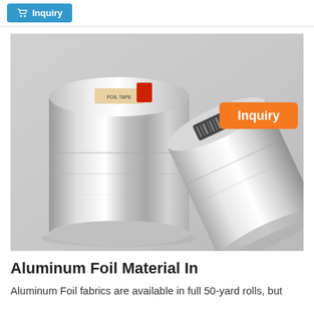Inquiry
[Figure (photo): Two rolls of shiny aluminum foil tape. One large cylindrical roll stands upright on the left, and a second roll leans diagonally on the right showing the tape unrolled slightly. Both are metallic silver in color photographed against a neutral grey background. An orange 'Inquiry' badge appears in the upper right of the image.]
Aluminum Foil Material In
Aluminum Foil fabrics are available in full 50-yard rolls, but